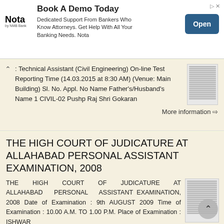[Figure (other): Advertisement banner: Book A Demo Today - Nota by NMB Bank. Dedicated Support From Bankers Who Know Attorneys. Get Help With All Your Banking Needs. Nota. Open button.]
: Technical Assistant (Civil Engineering) On-line Test Reporting Time (14.03.2015 at 8:30 AM) (Venue: Main Building) Sl. No. Appl. No Name Father's/Husband's Name 1 CIVIL-02 Pushp Raj Shri Gokaran
More information →
THE HIGH COURT OF JUDICATURE AT ALLAHABAD PERSONAL ASSISTANT EXAMINATION, 2008
THE HIGH COURT OF JUDICATURE AT ALLAHABAD PERSONAL ASSISTANT EXAMINATION, 2008 Date of Examination : 9th AUGUST 2009 Time of Examination : 10.00 A.M. TO 1.00 P.M. Place of Examination : ISHWAR